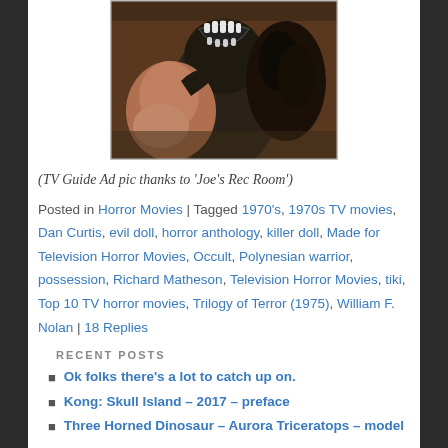[Figure (photo): Close-up horror movie still showing a dark creature/monster with large teeth biting or attacking a person with curly hair, brown/dark tones throughout]
(TV Guide Ad pic thanks to 'Joe's Rec Room')
Posted in Horror Movies | Tagged 1970's, 1970s TV movies, Dan Curtis, evil doll, horror anthology, killer doll, Made for Television Horror Movies, Occult, Polynesian warrior, possession, Richard Matheson, Television Horror Movies, tiki, Top 10 TV horror movies, Trilogy of Terror (1975), William F. Nolan | 18 Replies
RECENT POSTS
Ok folks there's a lot to catch up on.
Kong: Skull Island – 2017 – preface
Three Horned Dinosaur – Aurora Triceratops – model